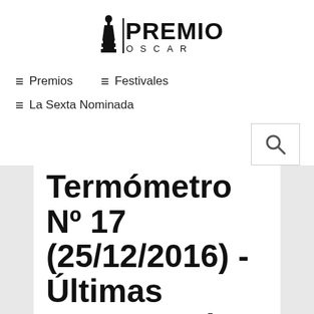[Figure (logo): Premios Oscar logo with Oscar statuette silhouette and bold text 'PREMIOS' above 'O S C A R']
≡ Premios   ≡ Festivales
≡ La Sexta Nominada
Termómetro Nº 17 (25/12/2016) - Últimas apuestas de 2016